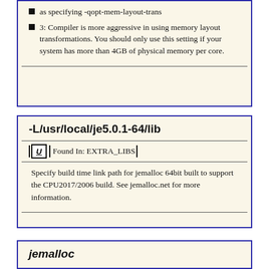as specifying -qopt-mem-layout-trans
3: Compiler is more aggressive in using memory layout transformations. You should only use this setting if your system has more than 4GB of physical memory per core.
-L/usr/local/je5.0.1-64/lib
Found In: EXTRA_LIBS
Specify build time link path for jemalloc 64bit built to support the CPU2017/2006 build. See jemalloc.net for more information.
jemalloc